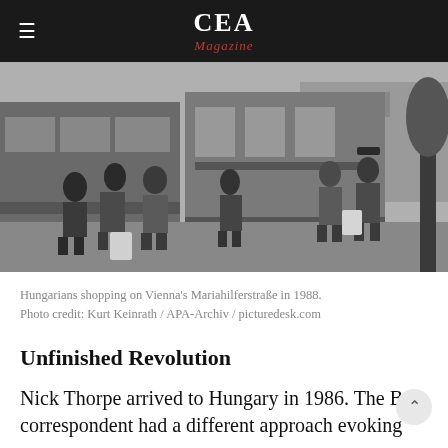CEA Magazine
[Figure (photo): Black and white photograph of Hungarians shopping on Vienna's Mariahilferstraße in 1988. People are standing near buses on a busy street, some carrying shopping bags.]
Hungarians shopping on Vienna's Mariahilferstraße in 1988. Photo credit: Kurt Keinrath / APA-Archiv / picturedesk.com
Unfinished Revolution
Nick Thorpe arrived to Hungary in 1986. The B correspondent had a different approach evoking